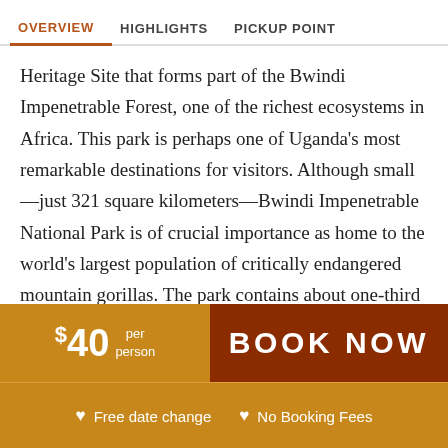OVERVIEW | HIGHLIGHTS | PICKUP POINT
Heritage Site that forms part of the Bwindi Impenetrable Forest, one of the richest ecosystems in Africa. This park is perhaps one of Uganda's most remarkable destinations for visitors. Although small—just 321 square kilometers—Bwindi Impenetrable National Park is of crucial importance as home to the world's largest population of critically endangered mountain gorillas. The park contains about one-third of the 1,000 or so alive today, with the remainder in the Virunga conservation area shared by Rwanda and Congo.
$40 per person  BOOK NOW
♥ Free date change   ♥ No Booking Fees